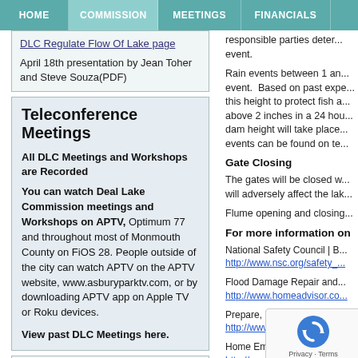HOME | COMMISSION | MEETINGS | FINANCIALS
DLC Regulate Flow Of Lake page
April 18th presentation by Jean Toher and Steve Souza(PDF)
Teleconference Meetings
All DLC Meetings and Workshops are Recorded
You can watch Deal Lake Commission meetings and Workshops on APTV, Optimum 77 and throughout most of Monmouth County on FiOS 28. People outside of the city can watch APTV on the APTV website, www.asburyparktv.com, or by downloading APTV app on Apple TV or Roku devices.
View past DLC Meetings here.
Before You Buy or Build:
responsible parties deter... event.
Rain events between 1 and... event. Based on past expe... this height to protect fish a... above 2 inches in a 24 hou... dam height will take place... events can be found on te...
Gate Closing
The gates will be closed w... will adversely affect the lak...
Flume opening and closing...
For more information on
National Safety Council | B... http://www.nsc.org/safety_...
Flood Damage Repair and... http://www.homeadvisor.co...
Prepare, Plan... http://www.rea...
Home Emerge... http://www.improvenet.com...